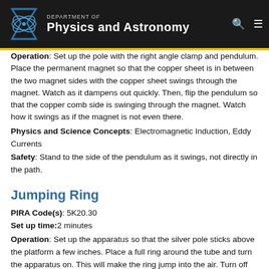[Figure (logo): Department of Physics and Astronomy navigation bar with hourglass/atom logo]
Operation: Set up the pole with the right angle clamp and pendulum. Place the permanent magnet so that the copper sheet is in between the two magnet sides with the copper sheet swings through the magnet. Watch as it dampens out quickly. Then, flip the pendulum so that the copper comb side is swinging through the magnet. Watch how it swings as if the magnet is not even there.
Physics and Science Concepts: Electromagnetic Induction, Eddy Currents
Safety: Stand to the side of the pendulum as it swings, not directly in the path.
Jumping Ring
PIRA Code(s): 5K20.30
Set up time: 2 minutes
Operation: Set up the apparatus so that the silver pole sticks above the platform a few inches. Place a full ring around the tube and turn the apparatus on. This will make the ring jump into the air. Turn off the machine then, place the split ring around the pole, turn on the machine and this will not do anything. Resistive heating can be demonstrated by holding the full rings down and feeling them heat up. Next, turn off the machine, place the copper coil around the pole and press down on the copper rod sticking off the coil to create sparks. Also, place the light bulb circuit ring against the flat top part of the pole and watch it light up.
Physics and Science Concepts: Lenz law, Electromagnetic Induction, Eddy